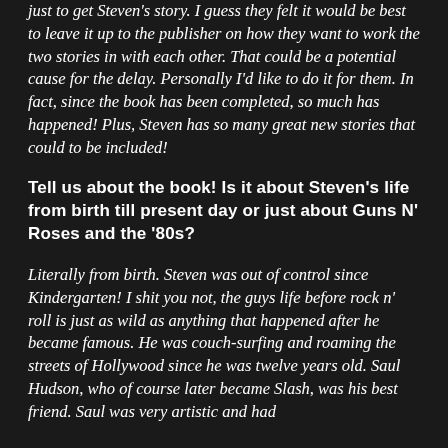just to get Steven's story. I guess they felt it would be best to leave it up to the publisher on how they want to work the two stories in with each other. That could be a potential cause for the delay. Personally I'd like to do it for them. In fact, since the book has been completed, so much has happened! Plus, Steven has so many great new stories that could to be included!
Tell us about the book! Is it about Steven's life from birth till present day or just about Guns N' Roses and the '80s?
Literally from birth. Steven was out of control since Kindergarten! I shit you not, the guys life before rock n' roll is just as wild as anything that happened after he became famous. He was couch-surfing and roaming the streets of Hollywood since he was twelve years old. Saul Hudson, who of course later became Slash, was his best friend. Saul was very artistic and had